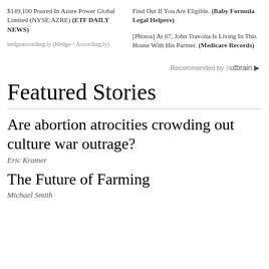$149,100 Poured In Azure Power Global Limited (NYSE:AZRE) (ETF DAILY NEWS)
hedgeaccording.ly (Hedge->According.ly)
Find Out If You Are Eligible. (Baby Formula Legal Helpers)
[Photos] At 67, John Travolta Is Living In This House With His Partner. (Medicare Records)
Recommended by Outbrain
Featured Stories
Are abortion atrocities crowding out culture war outrage?
Eric Kramer
The Future of Farming
Michael Smith